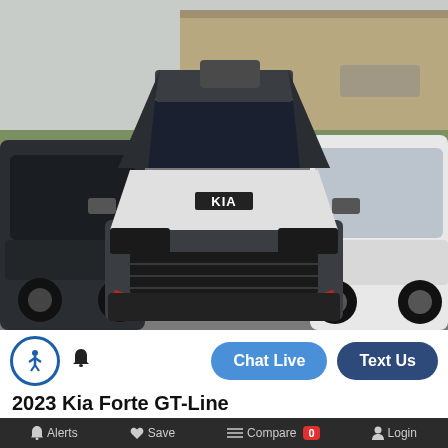[Figure (photo): Front view of a 2023 Kia Forte GT-Line in a dealer parking lot. Silver and dark gray body with red accent corners on front bumper. Kia logo on hood. Flanked by a dark gray SUV on the left and a white SUV on the right. Building visible in background.]
Chat Live
Text Us
2023 Kia Forte GT-Line
Alerts   Save   Compare 0   Login